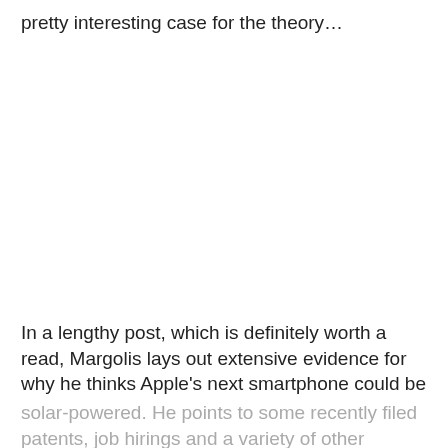pretty interesting case for the theory…
In a lengthy post, which is definitely worth a read, Margolis lays out extensive evidence for why he thinks Apple's next smartphone could be solar-powered. He points to some recently filed patents, job hirings and a variety of other curious